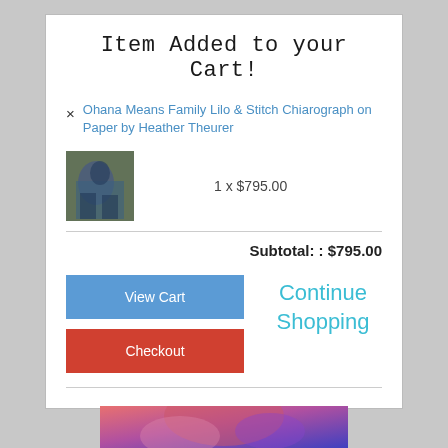Item Added to your Cart!
Ohana Means Family Lilo & Stitch Chiarograph on Paper by Heather Theurer
1  x  $795.00
Subtotal: : $795.00
View Cart
Checkout
Continue Shopping
[Figure (photo): Small thumbnail image of Lilo & Stitch chiarograph artwork showing a figure in blue/teal tones]
[Figure (photo): Partial colorful artwork strip at bottom of page with purple, red and blue tones]